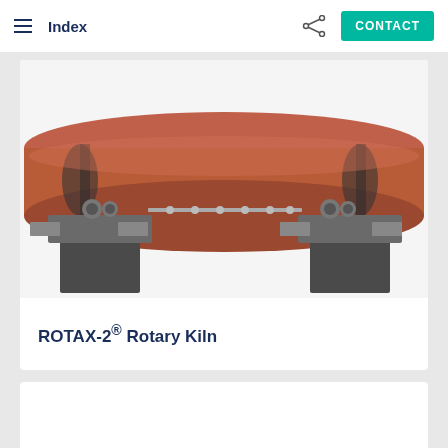Index | CONTACT
[Figure (photo): 3D rendering of ROTAX-2 Rotary Kiln showing a large horizontal rotating drum (red/brown cylinder) with two support station assemblies at each end, connected by a mechanical linkage system on a white background.]
ROTAX-2® Rotary Kiln
[Figure (photo): Bottom card area, partially visible, white background.]